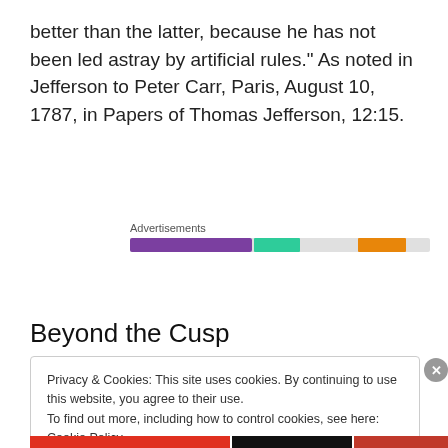better than the latter, because he has not been led astray by artificial rules." As noted in Jefferson to Peter Carr, Paris, August 10, 1787, in Papers of Thomas Jefferson, 12:15.
[Figure (infographic): Advertisements bar with colored segments: purple, teal/green, and orange on a light gray background]
Beyond the Cusp
Privacy & Cookies: This site uses cookies. By continuing to use this website, you agree to their use.
To find out more, including how to control cookies, see here: Cookie Policy
Close and accept